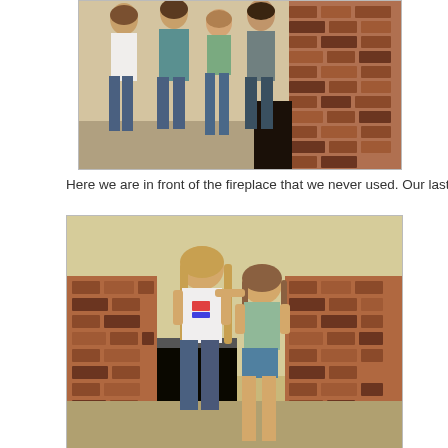[Figure (photo): Family photo of four people (two adults/older children and two younger children) standing in front of a brick fireplace in a room with beige walls.]
Here we are in front of the fireplace that we never used. Our last picture, in ou
[Figure (photo): Two young girls standing in front of a brick fireplace in a room with yellow-beige walls. The taller girl on the left has long blonde hair and wears a white shirt and jeans; the shorter girl on the right wears a light green top and denim shorts.]